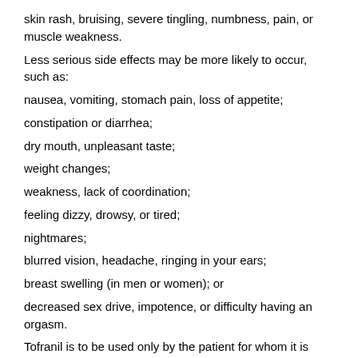skin rash, bruising, severe tingling, numbness, pain, or muscle weakness.
Less serious side effects may be more likely to occur, such as:
nausea, vomiting, stomach pain, loss of appetite;
constipation or diarrhea;
dry mouth, unpleasant taste;
weight changes;
weakness, lack of coordination;
feeling dizzy, drowsy, or tired;
nightmares;
blurred vision, headache, ringing in your ears;
breast swelling (in men or women); or
decreased sex drive, impotence, or difficulty having an orgasm.
Tofranil is to be used only by the patient for whom it is prescribed. Do not